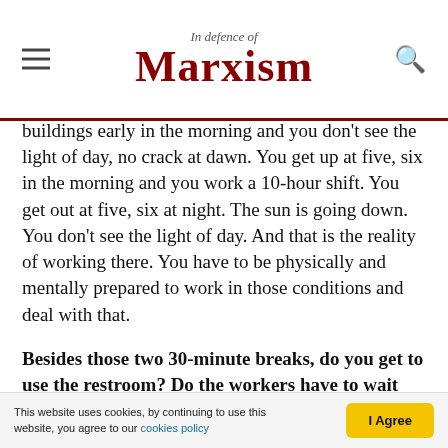In defence of Marxism
buildings early in the morning and you don't see the light of day, no crack at dawn. You get up at five, six in the morning and you work a 10-hour shift. You get out at five, six at night. The sun is going down. You don't see the light of day. And that is the reality of working there. You have to be physically and mentally prepared to work in those conditions and deal with that.
Besides those two 30-minute breaks, do you get to use the restroom? Do the workers have to wait until their break, or can they take a bathroom break?
This website uses cookies, by continuing to use this website, you agree to our cookies policy